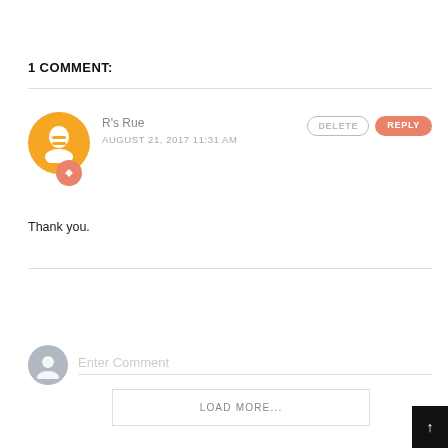1 COMMENT:
R's Rue
AUGUST 21, 2017 11:31 AM
Thank you.
Enter Comment
LOAD MORE...